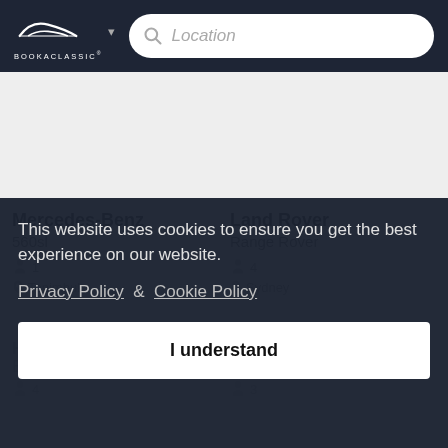[Figure (logo): BookAClassic logo - white car silhouette over BOOKACLASSIC text on dark header bar]
Location
Mercedes-Benz
560sl
1
Tonimbuk
Land Rover
Range Rover
4
Sydney
This website uses cookies to ensure you get the best experience on our website.
Privacy Policy & Cookie Policy
I understand
Holden
El
4
Dodge
Stealth
3